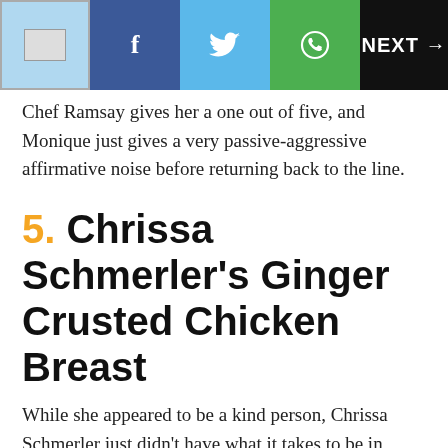NEXT →
Chef Ramsay gives her a one out of five, and Monique just gives a very passive-aggressive affirmative noise before returning back to the line.
5. Chrissa Schmerler's Ginger Crusted Chicken Breast
While she appeared to be a kind person, Chrissa Schmerler just didn't have what it takes to be in Hell's Kitchen and ranked eighteenth place in the show's fourteenth season. When she reveals her signature dish to Ramsay, she says that she got the inspiration from the cookie aisle at the grocery